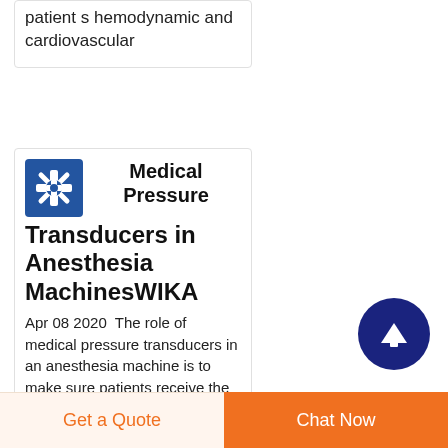patient s hemodynamic and cardiovascular
Medical Pressure Transducers in Anesthesia MachinesWIKA
Apr 08 2020  The role of medical pressure transducers in an anesthesia machine is to make sure patients receive the right amounts of medical gases These pressure instruments supply accurate
[Figure (logo): WIKA logo: blue square with white crosshair/plus symbol]
[Figure (other): Dark blue circle with white upward arrow button]
Get a Quote
Chat Now